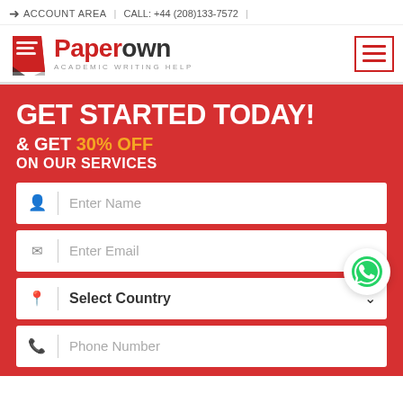ACCOUNT AREA | CALL: +44 (208)133-7572 |
[Figure (logo): PaperOwn Academic Writing Help logo with red paper icon and hamburger menu button]
GET STARTED TODAY!
& GET 30% OFF
ON OUR SERVICES
Enter Name
Enter Email
Select Country
Phone Number